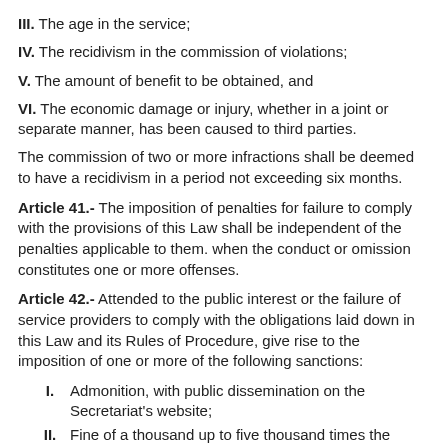III. The age in the service;
IV. The recidivism in the commission of violations;
V. The amount of benefit to be obtained, and
VI. The economic damage or injury, whether in a joint or separate manner, has been caused to third parties.
The commission of two or more infractions shall be deemed to have a recidivism in a period not exceeding six months.
Article 41.- The imposition of penalties for failure to comply with the provisions of this Law shall be independent of the penalties applicable to them. when the conduct or omission constitutes one or more offenses.
Article 42.- Attended to the public interest or the failure of service providers to comply with the obligations laid down in this Law and its Rules of Procedure, give rise to the imposition of one or more of the following sanctions:
I. Admonition, with public dissemination on the Secretariat's website;
II. Fine of a thousand up to five thousand times the general minimum wage in force in the federal entity in